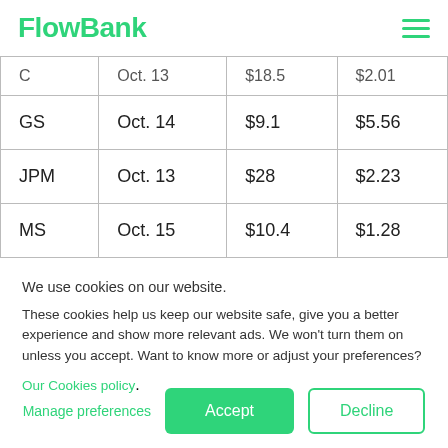FlowBank
| C | Oct. 13 | $18.5 | $2.01 |
| GS | Oct. 14 | $9.1 | $5.56 |
| JPM | Oct. 13 | $28 | $2.23 |
| MS | Oct. 15 | $10.4 | $1.28 |
We use cookies on our website.
These cookies help us keep our website safe, give you a better experience and show more relevant ads. We won't turn them on unless you accept. Want to know more or adjust your preferences?
Our Cookies policy.